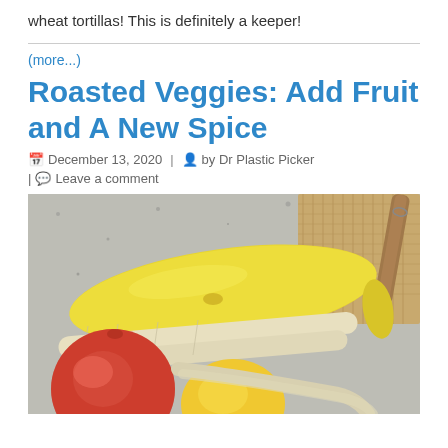wheat tortillas! This is definitely a keeper!
(more...)
Roasted Veggies: Add Fruit and A New Spice
December 13, 2020 | by Dr Plastic Picker
| Leave a comment
[Figure (photo): Vegetables and fruit on a granite countertop: a yellow zucchini/squash, parsnips, an apple, and a lemon, with a burlap cloth and wooden handle brush in background.]